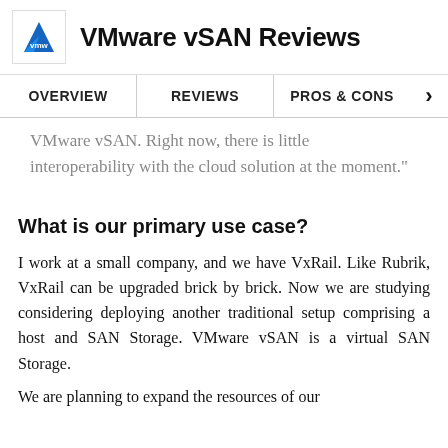VMware vSAN Reviews
OVERVIEW | REVIEWS | PROS & CONS
VMware vSAN. Right now, there is little interoperability with the cloud solution at the moment."
What is our primary use case?
I work at a small company, and we have VxRail. Like Rubrik, VxRail can be upgraded brick by brick. Now we are studying considering deploying another traditional setup comprising a host and SAN Storage. VMware vSAN is a virtual SAN Storage.
We are planning to expand the resources of our